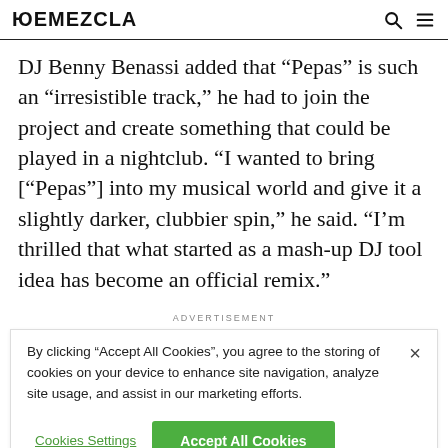REMEZCLA
DJ Benny Benassi added that “Pepas” is such an “irresistible track,” he had to join the project and create something that could be played in a nightclub. “I wanted to bring [“Pepas”] into my musical world and give it a slightly darker, clubbier spin,” he said. “I’m thrilled that what started as a mash-up DJ tool idea has become an official remix.”
ADVERTISEMENT
By clicking “Accept All Cookies”, you agree to the storing of cookies on your device to enhance site navigation, analyze site usage, and assist in our marketing efforts.
Cookies Settings
Accept All Cookies